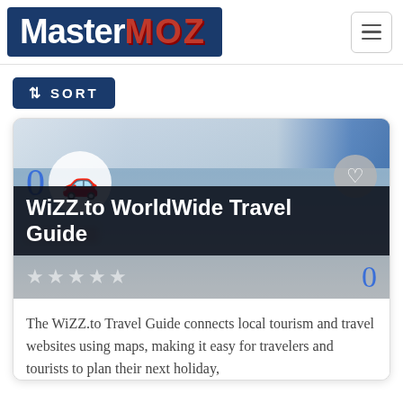[Figure (logo): MasterMOZ logo — dark blue background with white 'Master' and red 'MOZ' text]
[Figure (screenshot): WiZZ.to WorldWide Travel Guide website card with car icon, heart button, star rating, and score 0]
WiZZ.to WorldWide Travel Guide
The WiZZ.to Travel Guide connects local tourism and travel websites using maps, making it easy for travelers and tourists to plan their next holiday,